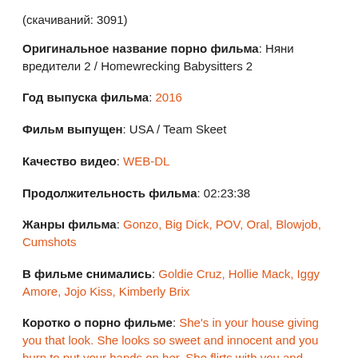(скачиваний: 3091)
Оригинальное название порно фильма: Няни вредители 2 / Homewrecking Babysitters 2
Год выпуска фильма: 2016
Фильм выпущен: USA / Team Skeet
Качество видео: WEB-DL
Продолжительность фильма: 02:23:38
Жанры фильма: Gonzo, Big Dick, POV, Oral, Blowjob, Cumshots
В фильме снимались: Goldie Cruz, Hollie Mack, Iggy Amore, Jojo Kiss, Kimberly Brix
Коротко о порно фильме: She's in your house giving you that look. She looks so sweet and innocent and you burn to put your hands on her. She flirts with you and finally one night, when